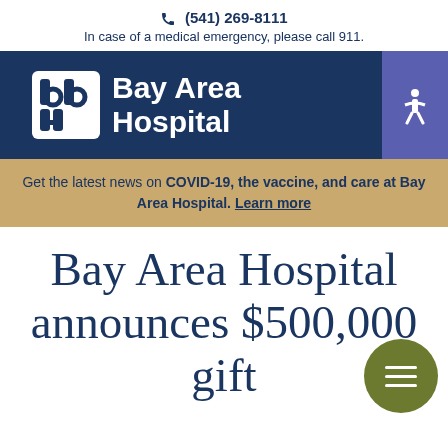(541) 269-8111
In case of a medical emergency, please call 911.
[Figure (logo): Bay Area Hospital logo with stylized 'bah' icon on dark navy background, with blue accessibility button on right]
Get the latest news on COVID-19, the vaccine, and care at Bay Area Hospital. Learn more
Bay Area Hospital announces $500,000 gift